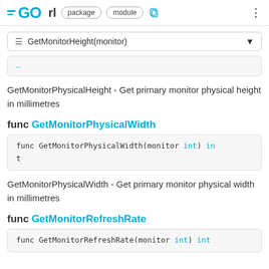GO rl package module
≡ GetMonitorHeight(monitor)
...
GetMonitorPhysicalHeight - Get primary monitor physical height in millimetres
func GetMonitorPhysicalWidth
func GetMonitorPhysicalWidth(monitor int) int
GetMonitorPhysicalWidth - Get primary monitor physical width in millimetres
func GetMonitorRefreshRate
func GetMonitorRefreshRate(monitor int) int